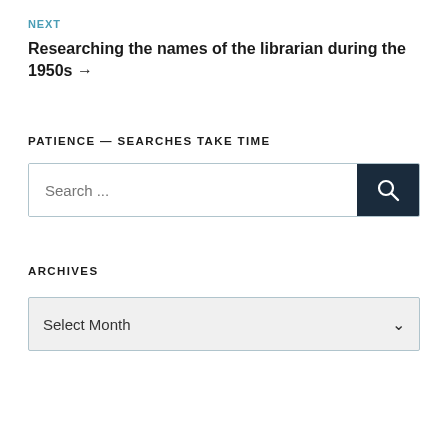NEXT
Researching the names of the librarian during the 1950s →
PATIENCE — SEARCHES TAKE TIME
[Figure (screenshot): Search input box with search button]
ARCHIVES
[Figure (screenshot): Select Month dropdown]